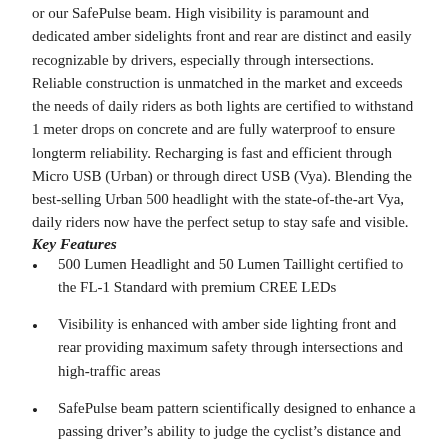or our SafePulse beam. High visibility is paramount and dedicated amber sidelights front and rear are distinct and easily recognizable by drivers, especially through intersections. Reliable construction is unmatched in the market and exceeds the needs of daily riders as both lights are certified to withstand 1 meter drops on concrete and are fully waterproof to ensure longterm reliability. Recharging is fast and efficient through Micro USB (Urban) or through direct USB (Vya). Blending the best-selling Urban 500 headlight with the state-of-the-art Vya, daily riders now have the perfect setup to stay safe and visible.
Key Features
500 Lumen Headlight and 50 Lumen Taillight certified to the FL-1 Standard with premium CREE LEDs
Visibility is enhanced with amber side lighting front and rear providing maximum safety through intersections and high-traffic areas
SafePulse beam pattern scientifically designed to enhance a passing driverÄö√Ñ√¥s ability to judge the cyclistÄö√Ñ√¥s distance and direction of travel without the risks associated